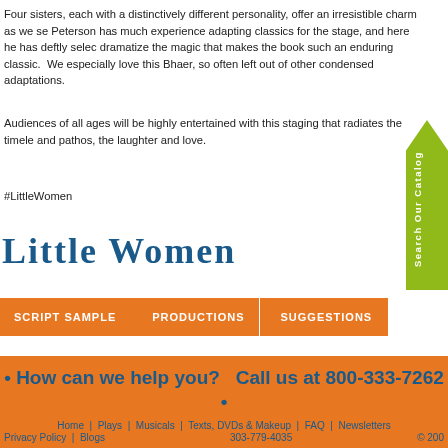Four sisters, each with a distinctively different personality, offer an irresistible charm as we se Peterson has much experience adapting classics for the stage, and here he has deftly selec dramatize the magic that makes the book such an enduring classic.  We especially love this Bhaer, so often left out of other condensed adaptations.
Audiences of all ages will be highly entertained with this staging that radiates the timele and pathos, the laughter and love.
#LittleWomen
Little Women
SCRIPT SAMPLE
PRODUCTIONS
SUGGESTIONS
• How can we help you?   Call us at 800-333-7262 •
Home | Plays | Musicals | Texts, DVDs & Makeup | FAQ | Newsletters
Privacy Policy | Blogs   303-779-4035   © 200